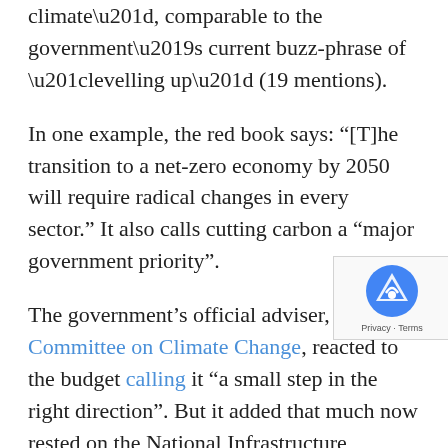climate", comparable to the government's current buzz-phrase of “levelling up” (19 mentions).
In one example, the red book says: “[T]he transition to a net-zero economy by 2050 will require radical changes in every sector.” It also calls cutting carbon a “major government priority”.
The government’s official adviser, the Committee on Climate Change, reacted to the budget calling it “a small step in the right direction”. But it added that much now rested on the National Infrastructure Strategy, delayed until later in the spring, as well as a spending review in July and a Treasury review on net-zero due before the UK hosts the next UN climate summit in Glasgow in November.
Sunak said the Treasury’s much-anticipated review of